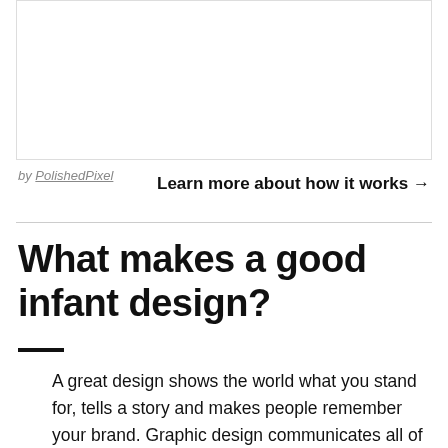[Figure (other): White rectangular box with border, representing a placeholder image area]
by PolishedPixel
Learn more about how it works →
What makes a good infant design?
A great design shows the world what you stand for, tells a story and makes people remember your brand. Graphic design communicates all of that through color, shape and other design elements.